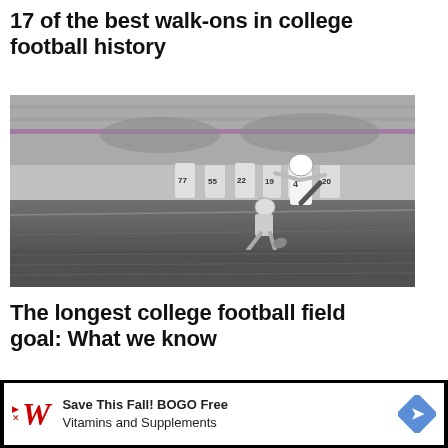17 of the best walk-ons in college football history
[Figure (photo): Black and white photograph of a college football field goal kick in progress. A kicker wearing jersey number 4 is shown mid-kick, with a holder crouched on the ground holding the ball. In the background, players with jersey numbers 77, 55, 22, 19, 10, 20 and others line the sideline watching.]
The longest college football field goal: What we know
[Figure (other): Partially visible image at the bottom of the page, cut off]
Save This Fall! BOGO Free Vitamins and Supplements